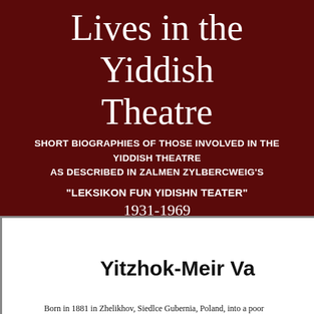Lives in the Yiddish Theatre
SHORT BIOGRAPHIES OF THOSE INVOLVED IN THE YIDDISH THEATRE AS DESCRIBED IN ZALMEN ZYLBERCWEIG'S
"LEKSIKON FUN YIDISHN TEATER"
1931-1969
Yitzhok-Meir Va
Born in 1881 in Zhelikhov, Siedlce Gubernia, Poland, into a poor...